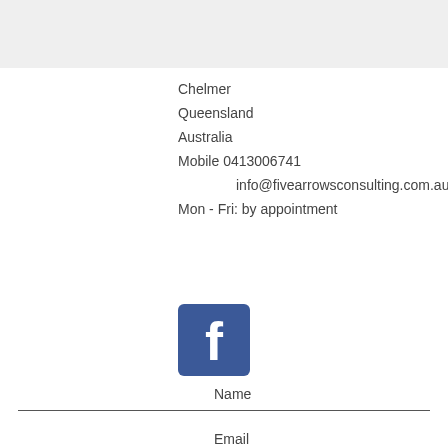Chelmer
Queensland
Australia
Mobile 0413006741
info@fivearrowsconsulting.com.au
Mon - Fri: by appointment
[Figure (logo): Facebook icon - blue square with white lowercase f]
Name
Email
Phone
Subject